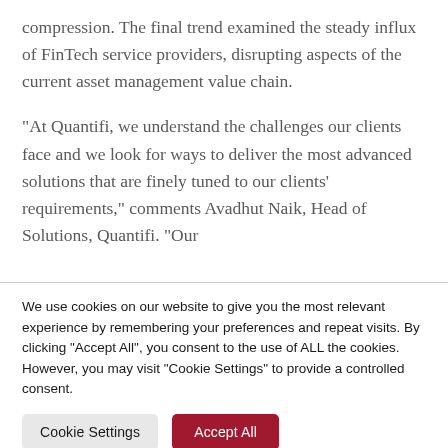compression. The final trend examined the steady influx of FinTech service providers, disrupting aspects of the current asset management value chain.
“At Quantifi, we understand the challenges our clients face and we look for ways to deliver the most advanced solutions that are finely tuned to our clients’ requirements,” comments Avadhut Naik, Head of Solutions, Quantifi. “Our
We use cookies on our website to give you the most relevant experience by remembering your preferences and repeat visits. By clicking “Accept All”, you consent to the use of ALL the cookies. However, you may visit "Cookie Settings" to provide a controlled consent.